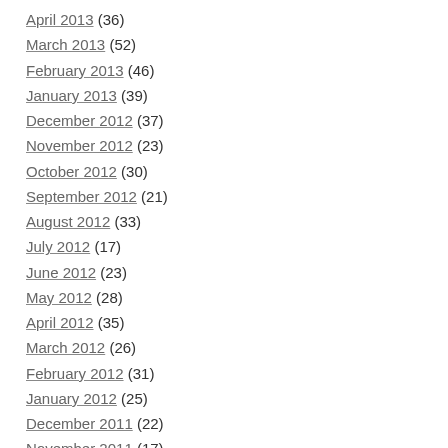April 2013 (36)
March 2013 (52)
February 2013 (46)
January 2013 (39)
December 2012 (37)
November 2012 (23)
October 2012 (30)
September 2012 (21)
August 2012 (33)
July 2012 (17)
June 2012 (23)
May 2012 (28)
April 2012 (35)
March 2012 (26)
February 2012 (31)
January 2012 (25)
December 2011 (22)
November 2011 (17)
October 2011 (16)